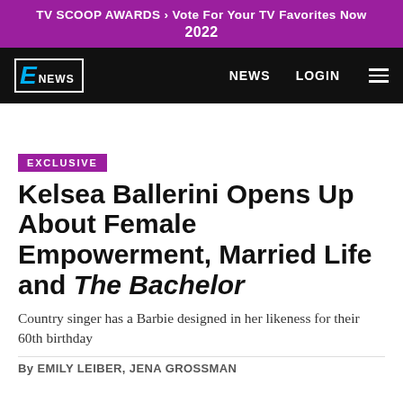TV SCOOP AWARDS › Vote For Your TV Favorites Now 2022
E NEWS  NEWS  LOGIN
EXCLUSIVE
Kelsea Ballerini Opens Up About Female Empowerment, Married Life and The Bachelor
Country singer has a Barbie designed in her likeness for their 60th birthday
By EMILY LEIBER, JENA GROSSMAN